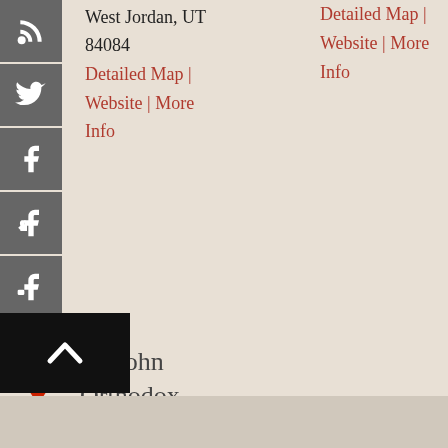West Jordan, UT 84084
Detailed Map | Website | More Info
Detailed Map | Website | More Info
[Figure (other): Social media icon sidebar with RSS, Twitter, Facebook, Facebook Like, Facebook Share, YouTube icons in gray boxes]
St. John Orthodox Church
283 Reata Road; Kennewick, WA 99338
Detailed Map | More Info
[Figure (other): Map marker badge with number 5 in red]
[Figure (other): Back to top button - black box with white upward chevron arrow]
[Figure (other): Bottom gray decorative bar / map strip]